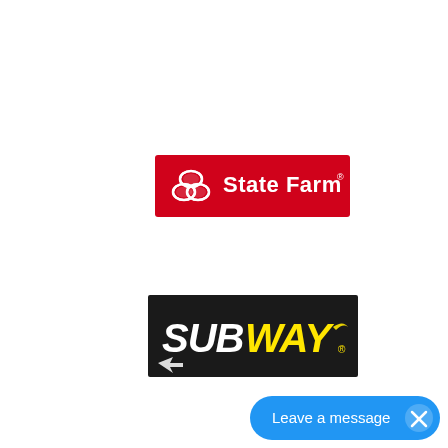[Figure (logo): State Farm logo: red rectangular background with white three-oval symbol on left and white text 'State Farm' with registered trademark symbol on right]
[Figure (logo): Subway logo: black rectangular background with bold italic white and yellow text 'SUBWAY' with registered trademark symbol and arrow motif]
[Figure (other): Blue chat widget button in bottom-right corner with text 'Leave a message' and an X close button]